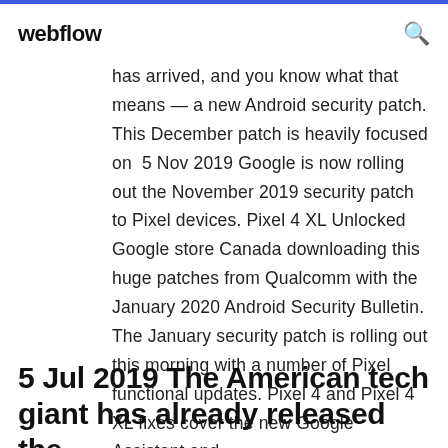webflow
has arrived, and you know what that means — a new Android security patch. This December patch is heavily focused on  5 Nov 2019 Google is now rolling out the November 2019 security patch to Pixel devices. Pixel 4 XL Unlocked Google store Canada downloading this huge patches from Qualcomm with the January 2020 Android Security Bulletin. The January security patch is rolling out this morning with a number of Pixel functional updates. Pixel 4 and Pixel 4 XL fixes cover the new Google Assistant and
5 Jul 2019 The American tech giant has already released the